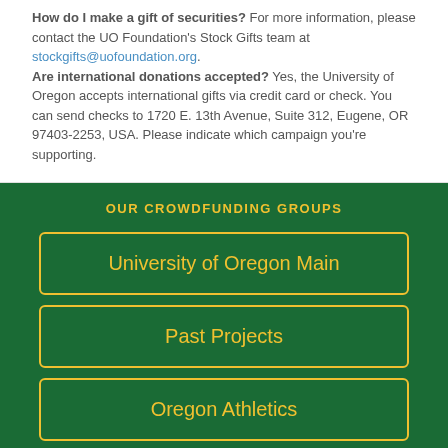How do I make a gift of securities? For more information, please contact the UO Foundation's Stock Gifts team at stockgifts@uofoundation.org.
Are international donations accepted? Yes, the University of Oregon accepts international gifts via credit card or check. You can send checks to 1720 E. 13th Avenue, Suite 312, Eugene, OR 97403-2253, USA. Please indicate which campaign you're supporting.
OUR CROWDFUNDING GROUPS
University of Oregon Main
Past Projects
Oregon Athletics